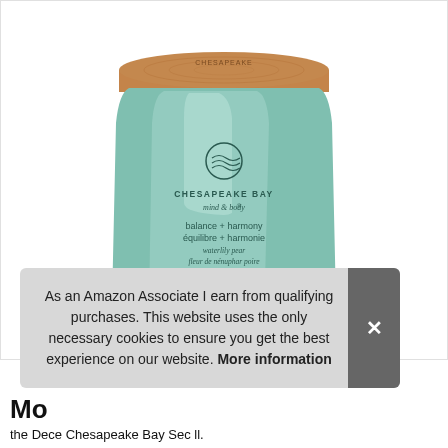[Figure (photo): A teal/mint frosted glass candle jar with a wooden cork lid. The label reads: Chesapeake Bay mind & body, balance + harmony / équilibre + harmonie / waterlily pear / fleur de nénuphar poire / with essential oil / à base d'huile essentielle / 250g]
As an Amazon Associate I earn from qualifying purchases. This website uses the only necessary cookies to ensure you get the best experience on our website. More information
Mo
the Dece Chescasses Lee Dee Sec II.